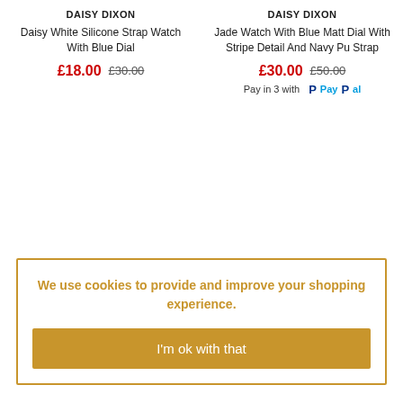DAISY DIXON
Daisy White Silicone Strap Watch With Blue Dial
£18.00  £30.00
DAISY DIXON
Jade Watch With Blue Matt Dial With Stripe Detail And Navy Pu Strap
£30.00  £50.00
Pay in 3 with PayPal
We use cookies to provide and improve your shopping experience.
I'm ok with that